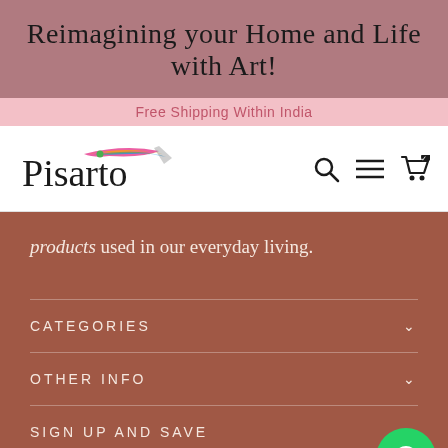Reimagining your Home and Life with Art!
Free Shipping Within India
[Figure (logo): Pisarto brand logo with colorful brushstroke accent]
products used in our everyday living.
CATEGORIES
OTHER INFO
SIGN UP AND SAVE
Enter your email